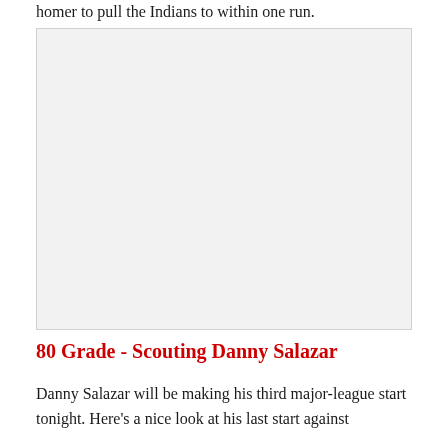homer to pull the Indians to within one run.
[Figure (photo): A large image placeholder (light gray background) taking up the central portion of the page, likely a photo related to a baseball game or player.]
80 Grade - Scouting Danny Salazar
Danny Salazar will be making his third major-league start tonight. Here's a nice look at his last start against